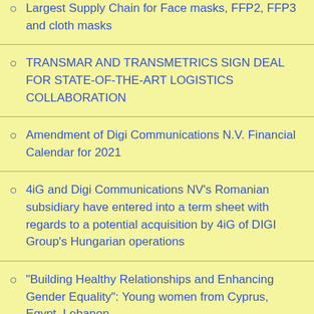Largest Supply Chain for Face masks, FFP2, FFP3 and cloth masks
TRANSMAR AND TRANSMETRICS SIGN DEAL FOR STATE-OF-THE-ART LOGISTICS COLLABORATION
Amendment of Digi Communications N.V. Financial Calendar for 2021
4iG and Digi Communications NV's Romanian subsidiary have entered into a term sheet with regards to a potential acquisition by 4iG of DIGI Group's Hungarian operations
"Building Healthy Relationships and Enhancing Gender Equality": Young women from Cyprus, Egypt, Lebanon and Lebanon and others